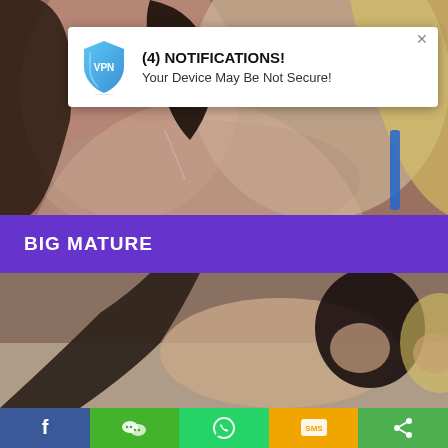[Figure (screenshot): Adult website background image showing two women]
(4) NOTIFICATIONS!
Your Device May Be Not Secure!
BIG MATURE
[Figure (photo): Adult website image showing two women]
[Figure (screenshot): Social share bar with Facebook, WeChat, WhatsApp, SMS, and share icons]